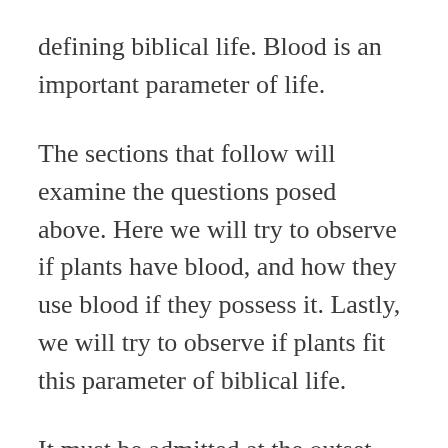defining biblical life. Blood is an important parameter of life.
The sections that follow will examine the questions posed above. Here we will try to observe if plants have blood, and how they use blood if they possess it. Lastly, we will try to observe if plants fit this parameter of biblical life.
It must be admitted at the outset that some plants possess some form of hemoglobin specifically termed “leghemoglobin”. Irwin Ting